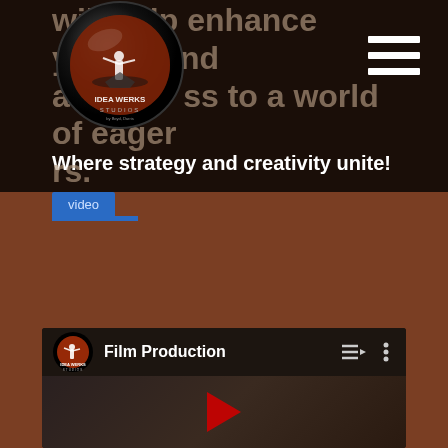will help enhance your brand access to a world of eager rs.
[Figure (logo): Idea Werks Studios circular logo with figure on rock against red moon background]
[Figure (other): Hamburger menu icon (three horizontal white lines)]
Where strategy and creativity unite!
video
[Figure (screenshot): YouTube-style embedded video player showing 'Film Production' playlist with Idea Werks Studios logo, queue and more icons, and a dark video thumbnail with red play button]